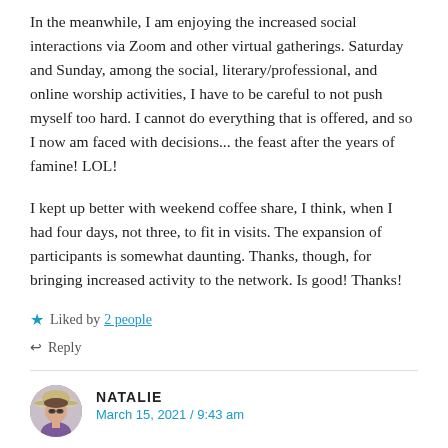In the meanwhile, I am enjoying the increased social interactions via Zoom and other virtual gatherings. Saturday and Sunday, among the social, literary/professional, and online worship activities, I have to be careful to not push myself too hard. I cannot do everything that is offered, and so I now am faced with decisions... the feast after the years of famine! LOL!
I kept up better with weekend coffee share, I think, when I had four days, not three, to fit in visits. The expansion of participants is somewhat daunting. Thanks, though, for bringing increased activity to the network. Is good! Thanks!
★ Liked by 2 people
↩ Reply
NATALIE
March 15, 2021 / 9:43 am